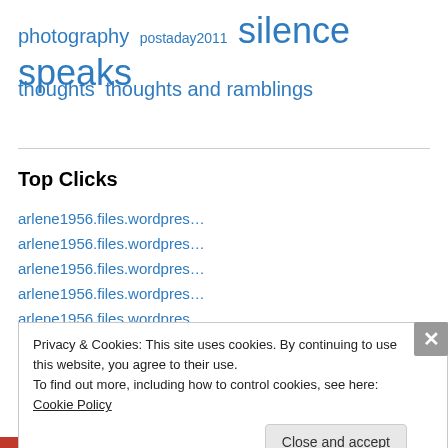photography postaday2011 silence speaks
thoughts thoughts and ramblings
Top Clicks
arlene1956.files.wordpres…
arlene1956.files.wordpres…
arlene1956.files.wordpres…
arlene1956.files.wordpres…
arlene1956.files.wordpres…
arlene1956.files.wordpres…
Privacy & Cookies: This site uses cookies. By continuing to use this website, you agree to their use. To find out more, including how to control cookies, see here: Cookie Policy
Close and accept